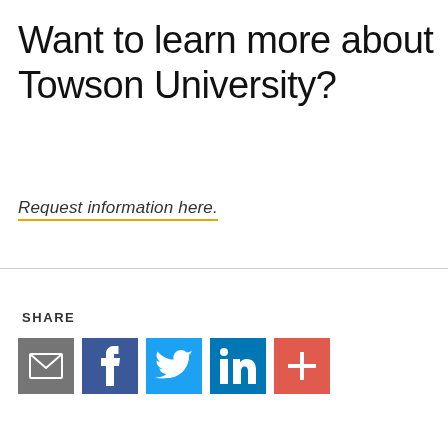Want to learn more about Towson University?
Request information here.
SHARE
[Figure (infographic): Row of five social sharing icon buttons: email (grey envelope), Facebook (blue f), Twitter (blue bird), LinkedIn (blue in), and a more/plus button (red +)]